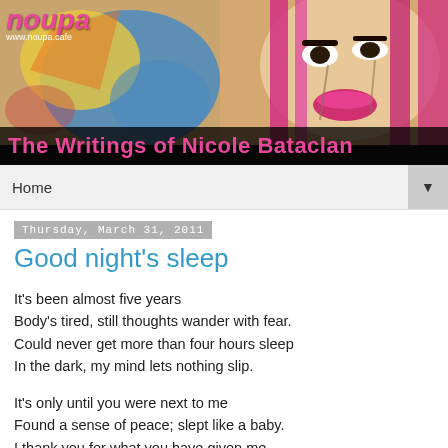[Figure (illustration): Blog header banner with colorful graffiti/pop-art woman with pink hair and painted face. Pink 'noupa' logo text and www.noupa.cafe URL in top left. Dark background with 'The Writings of Nicole Bataclan' text in pink at bottom.]
Home ▼
Thursday, March 31, 2011
Good night's sleep
It's been almost five years
Body's tired, still thoughts wander with fear.
Could never get more than four hours sleep
In the dark, my mind lets nothing slip.
It's only until you were next to me
Found a sense of peace; slept like a baby.
I thank you for what you have given me